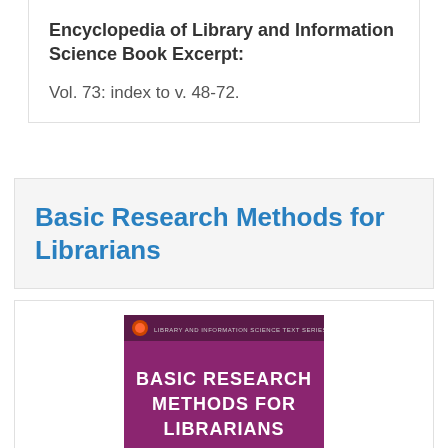Encyclopedia of Library and Information Science Book Excerpt:
Vol. 73: index to v. 48-72.
Basic Research Methods for Librarians
[Figure (photo): Book cover of 'Basic Research Methods for Librarians, Fifth Edition' from the Library and Information Science Text Series. Purple/magenta background with white bold text, and a bottom section showing blue abstract shapes resembling open books or digital screens with red/orange accents.]